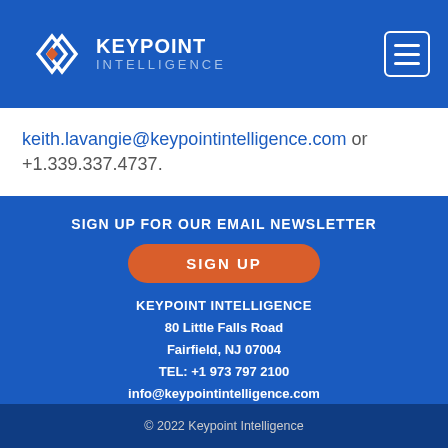[Figure (logo): Keypoint Intelligence logo — diamond shapes with orange center, blue background, white text 'KEYPOINT INTELLIGENCE']
keith.lavangie@keypointintelligence.com or +1.339.337.4737.
SIGN UP FOR OUR EMAIL NEWSLETTER
SIGN UP
KEYPOINT INTELLIGENCE
80 Little Falls Road
Fairfield, NJ 07004
TEL: +1 973 797 2100
info@keypointintelligence.com
[Figure (other): LinkedIn and Twitter social media icons in white]
© 2022 Keypoint Intelligence